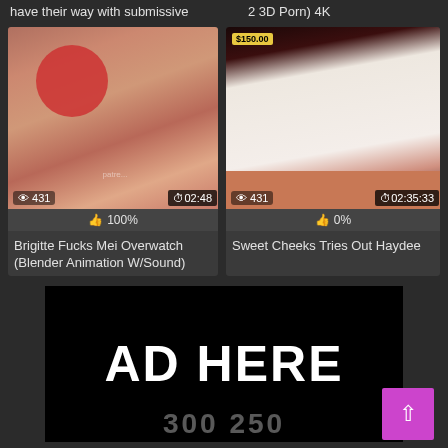have their way with submissive
2 3D Porn) 4K
[Figure (screenshot): Video thumbnail showing shower scene, 431 views, 02:48 duration, 100% likes]
Brigitte Fucks Mei Overwatch (Blender Animation W/Sound)
[Figure (screenshot): Video thumbnail showing figure, $150.00 price tag, 431 views, 02:35:33 duration, 0% likes]
Sweet Cheeks Tries Out Haydee
[Figure (screenshot): AD HERE banner advertisement, black background with white bold text]
AD HERE